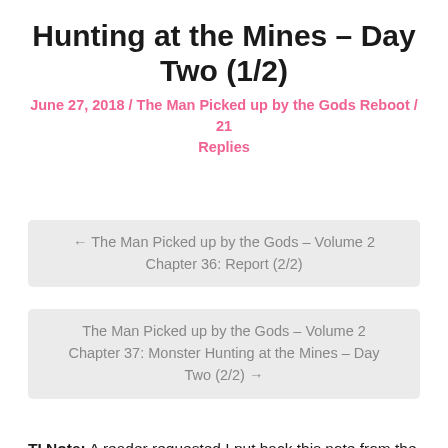Hunting at the Mines – Day Two (1/2)
June 27, 2018 / The Man Picked up by the Gods Reboot / 21 Replies
← The Man Picked up by the Gods – Volume 2 Chapter 36: Report (2/2)
The Man Picked up by the Gods – Volume 2 Chapter 37: Monster Hunting at the Mines – Day Two (2/2) →
TI Note: A reader requested I put back this note from the old translations for the previous chapter, so here it is. I'm